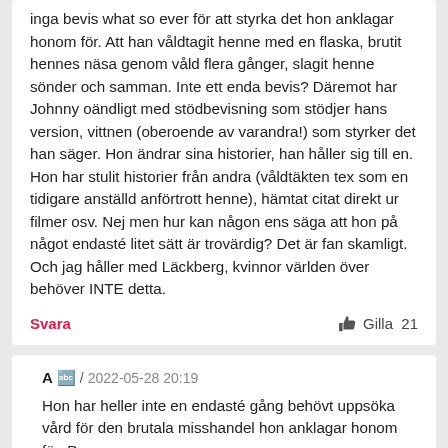inga bevis what so ever för att styrka det hon anklagar honom för. Att han våldtagit henne med en flaska, brutit hennes näsa genom våld flera gånger, slagit henne sönder och samman. Inte ett enda bevis? Däremot har Johnny oändligt med stödbevisning som stödjer hans version, vittnen (oberoende av varandra!) som styrker det han säger. Hon ändrar sina historier, han håller sig till en. Hon har stulit historier från andra (våldtäkten tex som en tidigare anställd anförtrott henne), hämtat citat direkt ur filmer osv. Nej men hur kan någon ens säga att hon på något endasté litet sätt är trovärdig? Det är fan skamligt. Och jag håller med Läckberg, kvinnor världen över behöver INTE detta.
Svara
Gilla 21
A / 2022-05-28 20:19
Hon har heller inte en endasté gång behövt uppsöka vård för den brutala misshandel hon anklagar honom för. Du